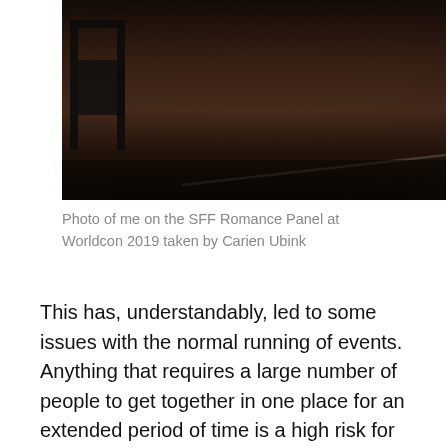[Figure (photo): Photo of a panel setting at Worldcon 2019, showing chairs and a dark curtained backdrop with a diagonal beam of light]
Photo of me on the SFF Romance Panel at Worldcon 2019 taken by Carien Ubink
This has, understandably, led to some issues with the normal running of events. Anything that requires a large number of people to get together in one place for an extended period of time is a high risk for spreading a virus so any number of LARP events, conferences, conventions and the like have been cancelled since March last year and in some cases we have got to the point where the rescheduled events are at risk of being cancelled as well. Some events, such as the New Zealand Worldcon in August, went fully virtual. Others are still waiting for when